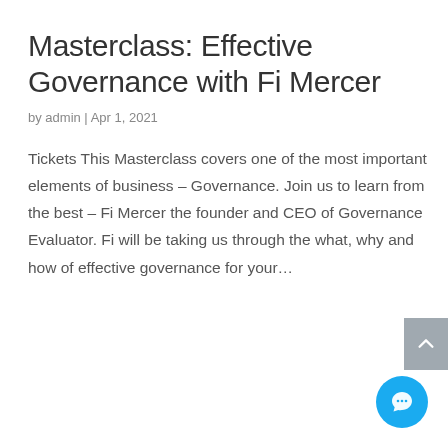Masterclass: Effective Governance with Fi Mercer
by admin | Apr 1, 2021
Tickets This Masterclass covers one of the most important elements of business – Governance. Join us to learn from the best – Fi Mercer the founder and CEO of Governance Evaluator. Fi will be taking us through the what, why and how of effective governance for your...
[Figure (other): Scroll-to-top button, grey rectangle with upward chevron arrow]
[Figure (other): Blue circular chat bubble button with ellipsis icon]